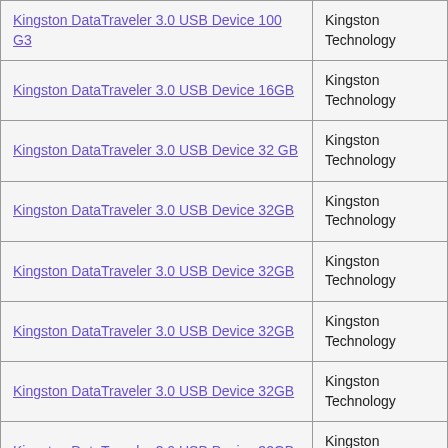| Product Name | Manufacturer | Price |
| --- | --- | --- |
| Kingston DataTraveler 3.0 USB Device 100 G3 | Kingston Technology |  |
| Kingston DataTraveler 3.0 USB Device 16GB | Kingston Technology |  |
| Kingston DataTraveler 3.0 USB Device 32 GB | Kingston Technology |  |
| Kingston DataTraveler 3.0 USB Device 32GB | Kingston Technology |  |
| Kingston DataTraveler 3.0 USB Device 32GB | Kingston Technology |  |
| Kingston DataTraveler 3.0 USB Device 32GB | Kingston Technology |  |
| Kingston DataTraveler 3.0 USB Device 32GB | Kingston Technology |  |
| Kingston DataTraveler 3.0 USB Device 32GB | Kingston Technology |  |
| Kingston DataTraveler 3.0 USB Device 32gb | Kingston Technology |  |
| Kingston DataTraveler 3.0 USB Device 32GB | Kingston Technology |  |
| Kingston DataTraveler 3.0 USB Device 64GB | Kingston Technology |  |